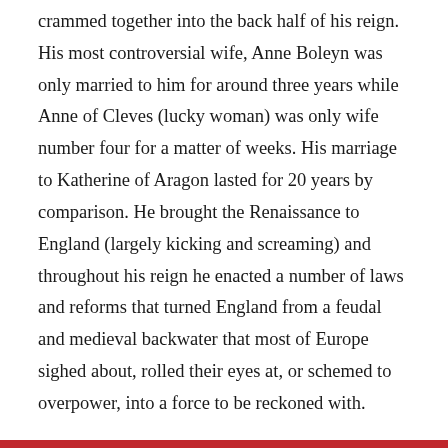crammed together into the back half of his reign. His most controversial wife, Anne Boleyn was only married to him for around three years while Anne of Cleves (lucky woman) was only wife number four for a matter of weeks. His marriage to Katherine of Aragon lasted for 20 years by comparison. He brought the Renaissance to England (largely kicking and screaming) and throughout his reign he enacted a number of laws and reforms that turned England from a feudal and medieval backwater that most of Europe sighed about, rolled their eyes at, or schemed to overpower, into a force to be reckoned with.
As a result, his mark is everywhere. The ruins of abbeys and monasteries dot the country, his effigy turns up in surprising places, the royal supremacy he developed still holds in theory, and his direct touch is stamped over the